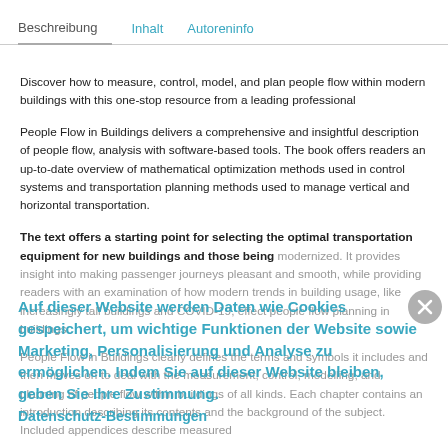Beschreibung	Inhalt	Autoreninfo
Discover how to measure, control, model, and plan people flow within modern buildings with this one-stop resource from a leading professional
People Flow in Buildings delivers a comprehensive and insightful description of people flow, analysis with software-based tools. The book offers readers an up-to-date overview of mathematical optimization methods used in control systems and transportation planning methods used to manage vertical and horizontal transportation.
The text offers a starting point for selecting the optimal transportation equipment for new buildings and those being modernized. It provides insight into making passenger journeys pleasant and smooth, while providing readers with an examination of how modern trends in building usage, like increasingly tall buildings and COVID-19, effect people flow planning in buildings.
People Flow in Buildings clearly defines the terms and symbols it includes and then moves on to deal with the measurement, control, modelling, and planning of people flow within buildings of all kinds. Each chapter contains an introduction describing its contents and the background of the subject. Included appendices describe measured